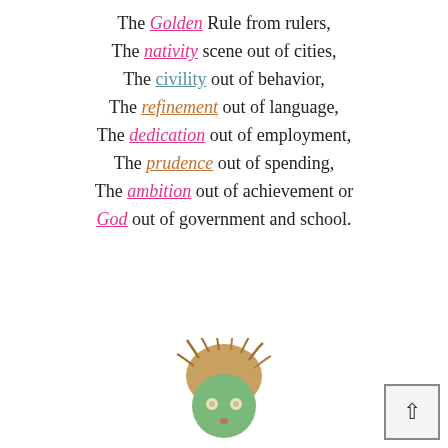The Golden Rule from rulers,
The nativity scene out of cities,
The civility out of behavior,
The refinement out of language,
The dedication out of employment,
The prudence out of spending,
The ambition out of achievement or
God out of government and school.
[Figure (illustration): A cartoon face with messy brown hair and a round green face with small eyes and a tiny mouth]